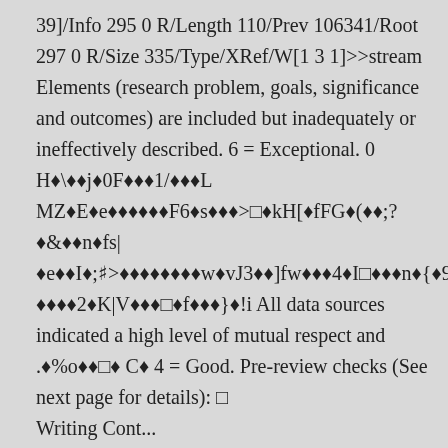39]/Info 295 0 R/Length 110/Prev 106341/Root 297 0 R/Size 335/Type/XRef/W[1 3 1]>>stream Elements (research problem, goals, significance and outcomes) are included but inadequately or ineffectively described. 6 = Exceptional. 0 H◆\◆◆j◆0F◆◆◆1/◆◆◆L MZ◆E◆e◆◆◆◆◆◆F6◆s◆◆◆>□◆kH[◆fFG◆(◆◆;?◆&◆◆n◆fs|◆e◆◆I◆;>◆◆◆◆◆◆◆◆w◆vJ3◆◆]fw◆◆◆4◆I□◆◆◆n◆{◆9◆"◆◆&g◆◆;◆L7◆◆2◆◆◆?◆◆◆◆2◆K|V◆◆◆□◆f◆◆◆}◆!i All data sources indicated a high level of mutual respect and .◆%o◆◆□◆ C◆ 4 = Good. Pre-review checks (See next page for details): □ Writing Cont...